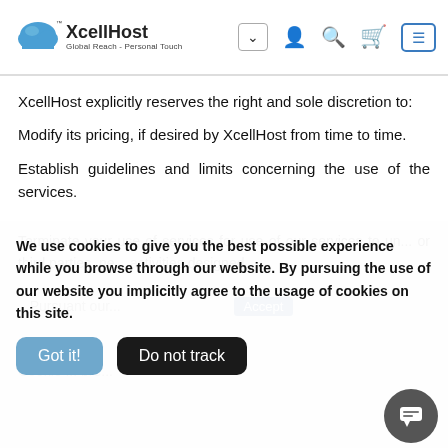[Figure (logo): XcellHost logo with cloud icon and tagline 'Global Reach - Personal Touch', plus navigation icons (dropdown, user, search, cart, hamburger menu)]
XcellHost explicitly reserves the right and sole discretion to:
Modify its pricing, if desired by XcellHost from time to time.
Establish guidelines and limits concerning the use of the services.
Terminate your use of services for use of our services to un... or third parties, ne... activities designed ...
We use cookies to give you the best possible experience while you browse through our website. By pursuing the use of our website you implicitly agree to the usage of cookies on this site.